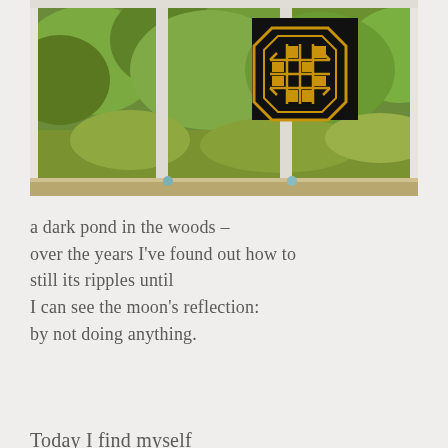[Figure (photo): A photograph taken through a multi-pane white window looking out at dense green trees and shrubbery. A black square plaque with a golden octagonal Celtic/geometric knot design is mounted on the center pane. The window sill is visible at the bottom.]
a dark pond in the woods –
over the years I've found out how to
still its ripples until
I can see the moon's reflection:
by not doing anything.
Today I find myself